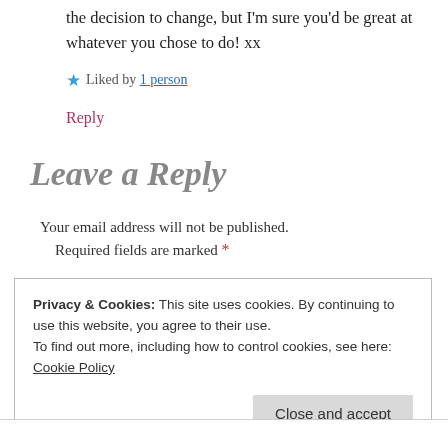the decision to change, but I'm sure you'd be great at whatever you chose to do! xx
★ Liked by 1 person
Reply
Leave a Reply
Your email address will not be published. Required fields are marked *
Privacy & Cookies: This site uses cookies. By continuing to use this website, you agree to their use.
To find out more, including how to control cookies, see here:
Cookie Policy
Close and accept